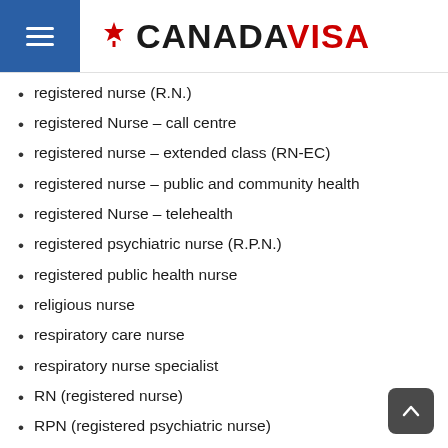CANADA VISA
registered nurse (R.N.)
registered Nurse – call centre
registered nurse – extended class (RN-EC)
registered nurse – public and community health
registered Nurse – telehealth
registered psychiatric nurse (R.P.N.)
registered public health nurse
religious nurse
respiratory care nurse
respiratory nurse specialist
RN (registered nurse)
RPN (registered psychiatric nurse)
school health nurse
school nurse
scrub nurse
staff nurse
surgical intensive care nurse
tele-nurse
telehealth registered nurse